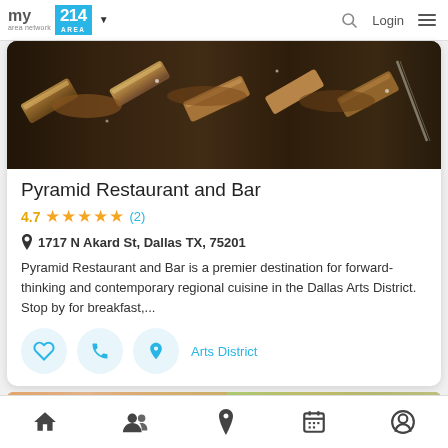my area network | 214 AREA | Login
[Figure (photo): Close-up photo of food items on a dark slate surface, appearing to be pastries or baked goods with a caramelized glaze]
Pyramid Restaurant and Bar
4.7 ★★★★★ (2)
1717 N Akard St, Dallas TX, 75201
Pyramid Restaurant and Bar is a premier destination for forward-thinking and contemporary regional cuisine in the Dallas Arts District. Stop by for breakfast,...
Arts District
[Figure (photo): Partial view of food image at bottom of screen]
Bottom navigation bar with home, people, location, calendar, and profile icons